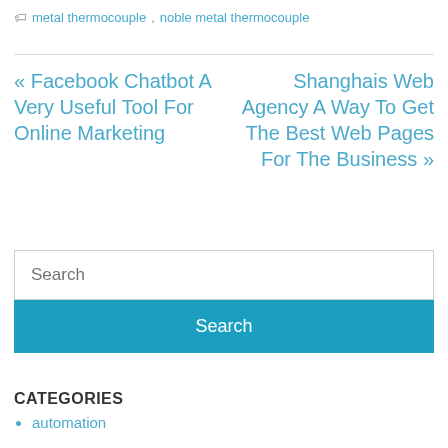🏷 metal thermocouple, noble metal thermocouple
« Facebook Chatbot A Very Useful Tool For Online Marketing
Shanghais Web Agency A Way To Get The Best Web Pages For The Business »
Search
Search
CATEGORIES
automation